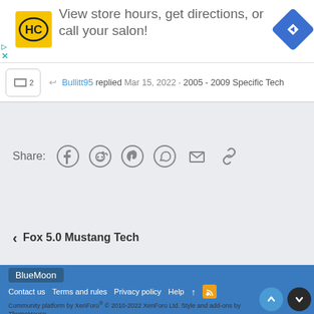[Figure (infographic): Advertisement banner: HC logo (yellow square with HC letters), text 'View store hours, get directions, or call your salon!', blue diamond navigation icon, close/skip ad controls]
↩ Bullitt95 replied Mar 15, 2022 · 2005 - 2009 Specific Tech
Share:
[Figure (infographic): Social share icons: Facebook, Reddit, Pinterest, WhatsApp, Email, Link]
❮ Fox 5.0 Mustang Tech
BlueMoon
Contact us   Terms and rules   Privacy policy   Help  ↑  RSS
Community platform by XenForo® © 2010-2022 XenForo Ltd. Style and add-ons by ThemeHouse